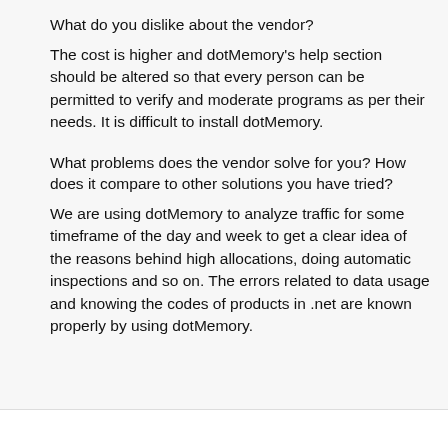What do you dislike about the vendor?
The cost is higher and dotMemory's help section should be altered so that every person can be permitted to verify and moderate programs as per their needs. It is difficult to install dotMemory.
What problems does the vendor solve for you? How does it compare to other solutions you have tried?
We are using dotMemory to analyze traffic for some timeframe of the day and week to get a clear idea of the reasons behind high allocations, doing automatic inspections and so on. The errors related to data usage and knowing the codes of products in .net are known properly by using dotMemory.